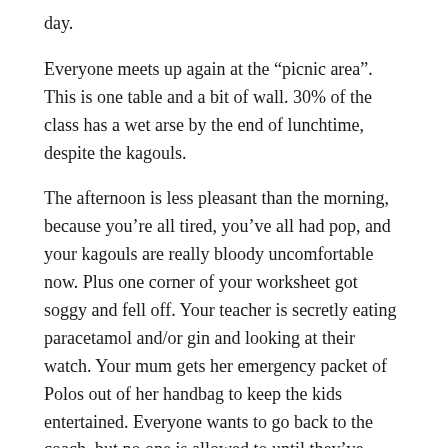day.
Everyone meets up again at the “picnic area”. This is one table and a bit of wall. 30% of the class has a wet arse by the end of lunchtime, despite the kagouls.
The afternoon is less pleasant than the morning, because you’re all tired, you’ve all had pop, and your kagouls are really bloody uncomfortable now. Plus one corner of your worksheet got soggy and fell off. Your teacher is secretly eating paracetamol and/or gin and looking at their watch. Your mum gets her emergency packet of Polos out of her handbag to keep the kids entertained. Everyone wants to go back to the coach, but no one is allowed to until they’ve finished the museum/farm/educational canal walk. The exception to this is the naughty kid, who was sent back to the coach at half past one because he threw a pencil at a cow.